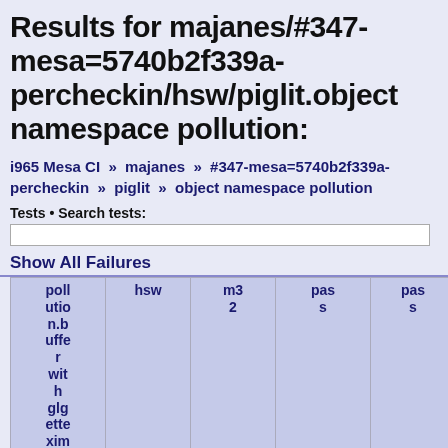Results for majanes/#347-mesa=5740b2f339a-percheckin/hsw/piglit.object namespace pollution:
i965 Mesa CI » majanes » #347-mesa=5740b2f339a-percheckin » piglit » object namespace pollution
Tests • Search tests:
Show All Failures
| pollution.buffer with glgettexim... | hsw | m32 | pass | pass |
| --- | --- | --- | --- | --- |
|  |  |  |  |  |